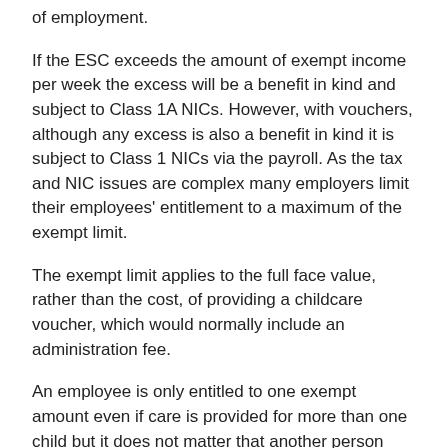of employment.
If the ESC exceeds the amount of exempt income per week the excess will be a benefit in kind and subject to Class 1A NICs. However, with vouchers, although any excess is also a benefit in kind it is subject to Class 1 NICs via the payroll. As the tax and NIC issues are complex many employers limit their employees' entitlement to a maximum of the exempt limit.
The exempt limit applies to the full face value, rather than the cost, of providing a childcare voucher, which would normally include an administration fee.
An employee is only entitled to one exempt amount even if care is provided for more than one child but it does not matter that another person may also be entitled to an exempt amount in respect of the same child.
Determining basic earnings